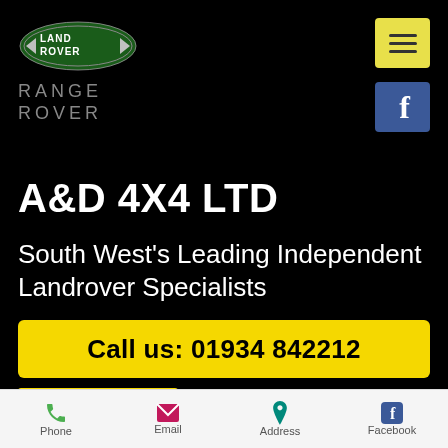[Figure (logo): Land Rover oval badge logo with LAND ROVER text in green oval, and RANGE ROVER text below in grey letters]
[Figure (other): Hamburger menu button (three horizontal lines) on yellow/cream background]
[Figure (other): Facebook logo button (white f on blue background)]
A&D 4X4 LTD
South West's Leading Independent Landrover Specialists
Call us: 01934 842212
Phone  Email  Address  Facebook